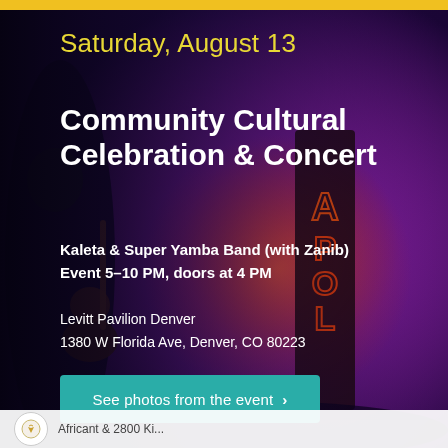[Figure (photo): Concert event promotional image showing a musician playing guitar on stage with dramatic purple/pink lighting and an Apollo theater neon sign in the background. A dark overlay gradient is applied over the photo.]
Saturday, August 13
Community Cultural Celebration & Concert
Kaleta & Super Yamba Band (with Zanib)
Event 5–10 PM, doors at 4 PM
Levitt Pavilion Denver
1380 W Florida Ave, Denver, CO 80223
See photos from the event  >
[Figure (logo): Small circular logo icon at the bottom left, appears to be for Levitt Pavilion or related organization]